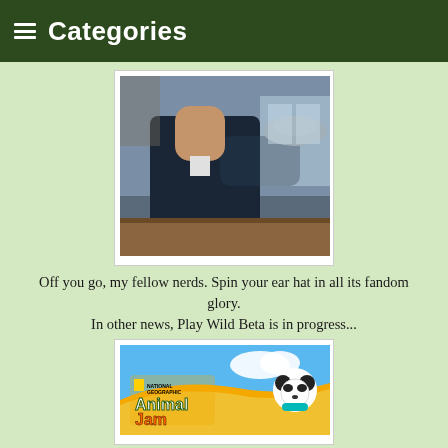≡ Categories
[Figure (photo): Person in dark coat spinning/holding a grey ear hat, kitchen or restaurant background with brick walls and wooden counter]
Off you go, my fellow nerds. Spin your ear hat in all its fandom glory.
In other news, Play Wild Beta is in progress...
[Figure (photo): Animal Jam game screenshot showing National Geographic Animal Jam logo with an animated panda character on a colorful background]